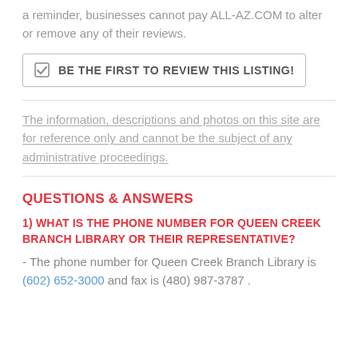a reminder, businesses cannot pay ALL-AZ.COM to alter or remove any of their reviews.
BE THE FIRST TO REVIEW THIS LISTING!
The information, descriptions and photos on this site are for reference only and cannot be the subject of any administrative proceedings.
QUESTIONS & ANSWERS
1) WHAT IS THE PHONE NUMBER FOR QUEEN CREEK BRANCH LIBRARY OR THEIR REPRESENTATIVE?
- The phone number for Queen Creek Branch Library is (602) 652-3000 and fax is (480) 987-3787 .